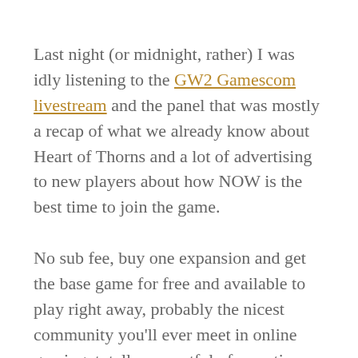Last night (or midnight, rather) I was idly listening to the GW2 Gamescom livestream and the panel that was mostly a recap of what we already know about Heart of Thorns and a lot of advertising to new players about how NOW is the best time to join the game.
No sub fee, buy one expansion and get the base game for free and available to play right away, probably the nicest community you'll ever meet in online gaming, totally respectful of your time – if you want to play